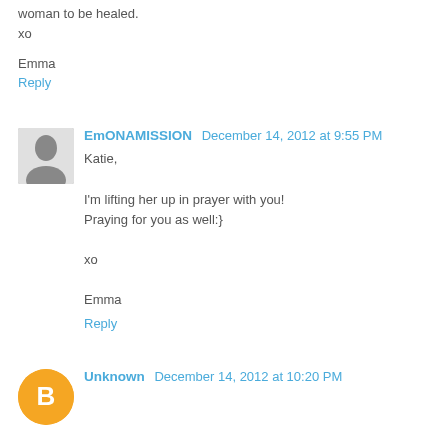woman to be healed.
xo
Emma
Reply
EmONAMISSION  December 14, 2012 at 9:55 PM
Katie,

I'm lifting her up in prayer with you!
Praying for you as well:}

xo

Emma
Reply
Unknown  December 14, 2012 at 10:20 PM